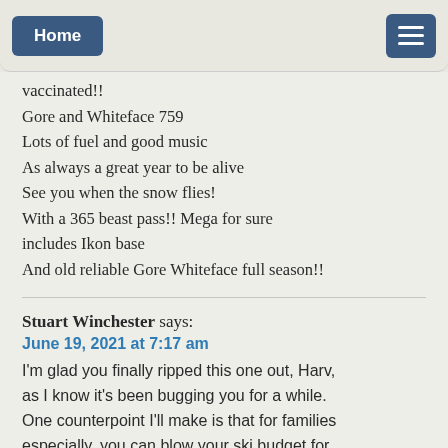Home | Menu
vaccinated!!
Gore and Whiteface 759
Lots of fuel and good music
As always a great year to be alive
See you when the snow flies!
With a 365 beast pass!! Mega for sure includes Ikon base
And old reliable Gore Whiteface full season!!
Stuart Winchester says:
June 19, 2021 at 7:17 am
I'm glad you finally ripped this one out, Harv, as I know it's been bugging you for a while. One counterpoint I'll make is that for families especially, you can blow your ski budget for the year on a couple weekends if you don't plan ahead. Walk-up rates and per-day rentals